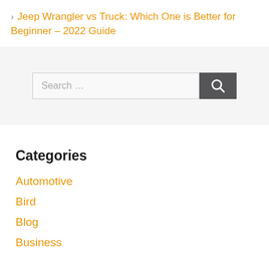> Jeep Wrangler vs Truck: Which One is Better for Beginner – 2022 Guide
[Figure (screenshot): Search bar with input field showing 'Search ...' placeholder and a dark gray search button with magnifying glass icon]
Categories
Automotive
Bird
Blog
Business